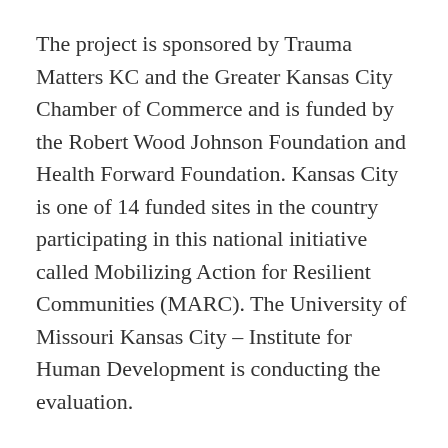The project is sponsored by Trauma Matters KC and the Greater Kansas City Chamber of Commerce and is funded by the Robert Wood Johnson Foundation and Health Forward Foundation. Kansas City is one of 14 funded sites in the country participating in this national initiative called Mobilizing Action for Resilient Communities (MARC). The University of Missouri Kansas City – Institute for Human Development is conducting the evaluation.
The survey asks questions about events that happened during childhood and will allow